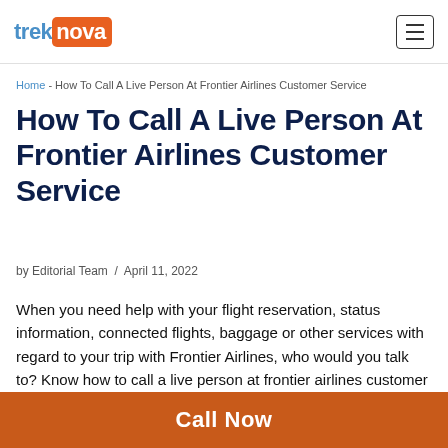treknova
Home - How To Call A Live Person At Frontier Airlines Customer Service
How To Call A Live Person At Frontier Airlines Customer Service
by Editorial Team / April 11, 2022
When you need help with your flight reservation, status information, connected flights, baggage or other services with regard to your trip with Frontier Airlines, who would you talk to? Know how to call a live person at frontier airlines customer service.
Call Now